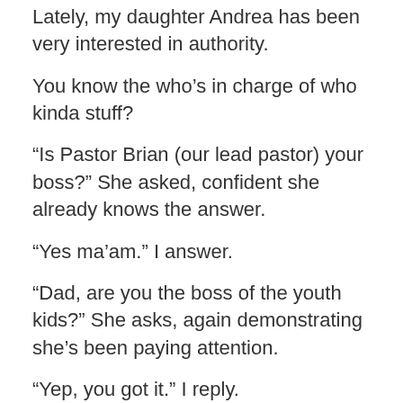Lately, my daughter Andrea has been very interested in authority.
You know the who’s in charge of who kinda stuff?
“Is Pastor Brian (our lead pastor) your boss?” She asked, confident she already knows the answer.
“Yes ma’am.” I answer.
“Dad, are you the boss of the youth kids?” She asks, again demonstrating she’s been paying attention.
“Yep, you got it.” I reply.
Then I nearly drive off the road after her next doozy of a question.
“Dad, who’s the boss of our family, you or mom?”